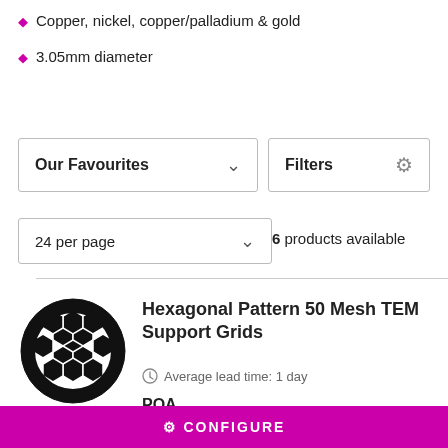Copper, nickel, copper/palladium & gold
3.05mm diameter
Our Favourites (dropdown)
Filters (settings icon)
24 per page (dropdown)
6 products available
[Figure (illustration): Circular TEM support grid with hexagonal pattern mesh, black on white background]
Hexagonal Pattern 50 Mesh TEM Support Grids
Average lead time: 1 day
POA
CONFIGURE